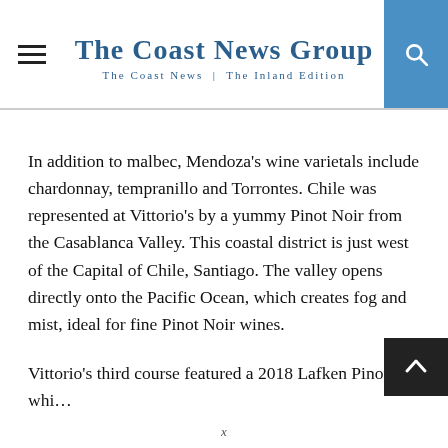The Coast News Group — The Coast News | The Inland Edition
In addition to malbec, Mendoza's wine varietals include chardonnay, tempranillo and Torrontes. Chile was represented at Vittorio's by a yummy Pinot Noir from the Casablanca Valley. This coastal district is just west of the Capital of Chile, Santiago. The valley opens directly onto the Pacific Ocean, which creates fog and mist, ideal for fine Pinot Noir wines.
Vittorio's third course featured a 2018 Lafken Pinot whi…